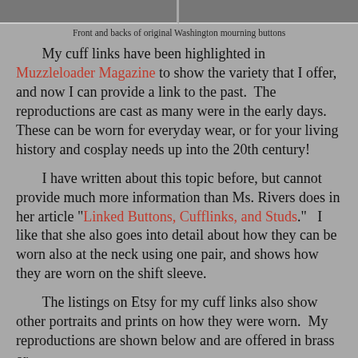[Figure (photo): Front and backs of original Washington mourning buttons — two photo panels side by side]
Front and backs of original Washington mourning buttons
My cuff links have been highlighted in Muzzleloader Magazine to show the variety that I offer, and now I can provide a link to the past.  The reproductions are cast as many were in the early days.  These can be worn for everyday wear, or for your living history and cosplay needs up into the 20th century!
I have written about this topic before, but cannot provide much more information than Ms. Rivers does in her article "Linked Buttons, Cufflinks, and Studs."   I like that she also goes into detail about how they can be worn also at the neck using one pair, and shows how they are worn on the shift sleeve.
The listings on Etsy for my cuff links also show other portraits and prints on how they were worn.  My reproductions are shown below and are offered in brass or